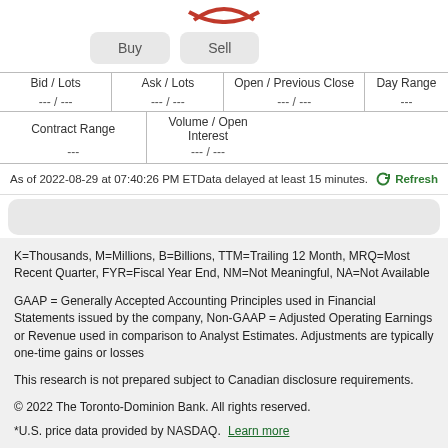[Figure (logo): Partial red curved bracket logo at top]
Buy  Sell
| Bid / Lots | Ask / Lots | Open / Previous Close | Day Range |
| --- | --- | --- | --- |
| --- / --- | --- / --- | --- / --- | --- |
| Contract Range | Volume / Open Interest |
| --- | --- |
| --- | --- / --- |
As of 2022-08-29 at 07:40:26 PM ET Data delayed at least 15 minutes.
K=Thousands, M=Millions, B=Billions, TTM=Trailing 12 Month, MRQ=Most Recent Quarter, FYR=Fiscal Year End, NM=Not Meaningful, NA=Not Available
GAAP = Generally Accepted Accounting Principles used in Financial Statements issued by the company, Non-GAAP = Adjusted Operating Earnings or Revenue used in comparison to Analyst Estimates. Adjustments are typically one-time gains or losses
This research is not prepared subject to Canadian disclosure requirements.
© 2022 The Toronto-Dominion Bank. All rights reserved.
*U.S. price data provided by NASDAQ.  Learn more
Quotes, News, and Fundamentals provided by  THOMSON REUTERS  View restrictions